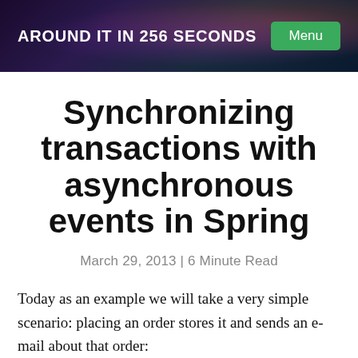AROUND IT IN 256 SECONDS
Synchronizing transactions with asynchronous events in Spring
March 29, 2013 | 6 Minute Read
Today as an example we will take a very simple scenario: placing an order stores it and sends an e-mail about that order: